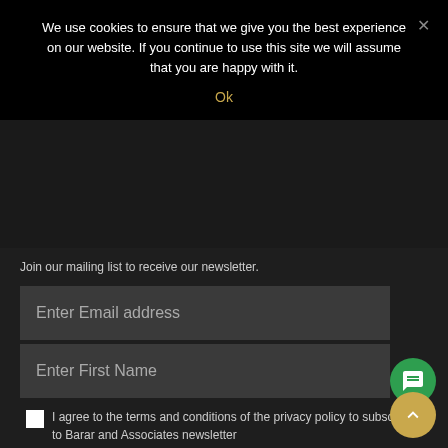We use cookies to ensure that we give you the best experience on our website. If you continue to use this site we will assume that you are happy with it.
Ok
Join our mailing list to receive our newsletter.
Enter Email address
Enter First Name
I agree to the terms and conditions of the privacy policy to subscribe to Barar and Associates newsletter
SUBMIT
Our most requested services: